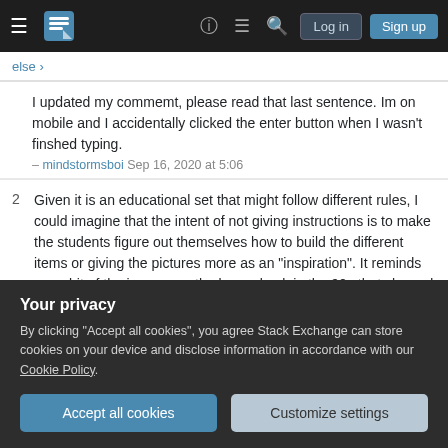Stack Exchange navigation bar with hamburger menu, logo, help, chat, search icons, Log in and Sign up buttons
else →
I updated my commemt, please read that last sentence. Im on mobile and I accidentally clicked the enter button when I wasn't finshed typing.
– mindstormsboi Sep 16, 2020 at 5:06
2 Given it is an educational set that might follow different rules, I could imagine that the intent of not giving instructions is to make the students figure out themselves how to build the different items or giving the pictures more as an "inspiration". It reminds me a bit of the images on the boxes back in the 90s that showed alternative builds of a set but only in a single photo. Not that this insight would be of any help for
Your privacy
By clicking "Accept all cookies", you agree Stack Exchange can store cookies on your device and disclose information in accordance with our Cookie Policy.
Accept all cookies
Customize settings